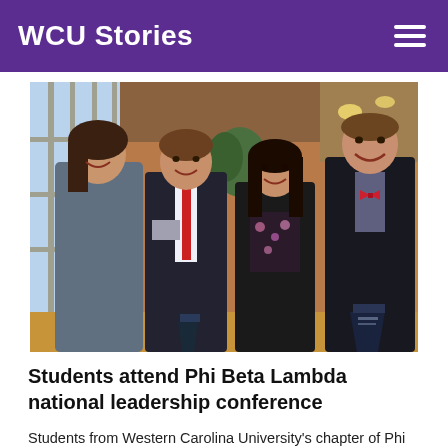WCU Stories
[Figure (photo): Four students in business attire standing together and smiling; two of them are holding glass award trophies. They appear to be in a hotel or conference center lobby.]
Students attend Phi Beta Lambda national leadership conference
Students from Western Carolina University's chapter of Phi